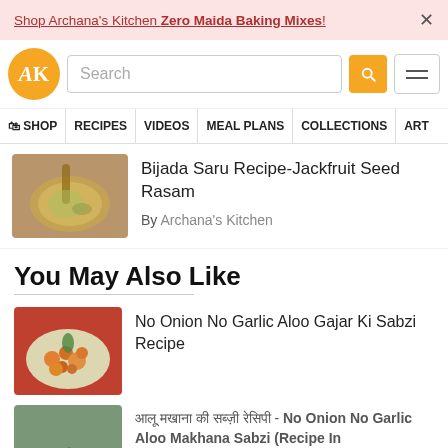Shop Archana's Kitchen Zero Maida Baking Mixes!
[Figure (logo): Archana's Kitchen logo - AK in golden circle]
Search
SHOP
RECIPES
VIDEOS
MEAL PLANS
COLLECTIONS
ART
[Figure (photo): Bowl of Bijada Saru - Jackfruit Seed Rasam, a greenish soup in a copper vessel with spoon]
Bijada Saru Recipe-Jackfruit Seed Rasam
By Archana's Kitchen
You May Also Like
[Figure (photo): Plate of aloo gajar sabzi - potato and carrot curry with green garnish on a teal plate with red background]
No Onion No Garlic Aloo Gajar Ki Sabzi Recipe
[Figure (photo): Aloo Makhana dish with green chillies on side]
आलू मखाना की सब्ज़ी रेसिपी - No Onion No Garlic Aloo Makhana Sabzi (Recipe In